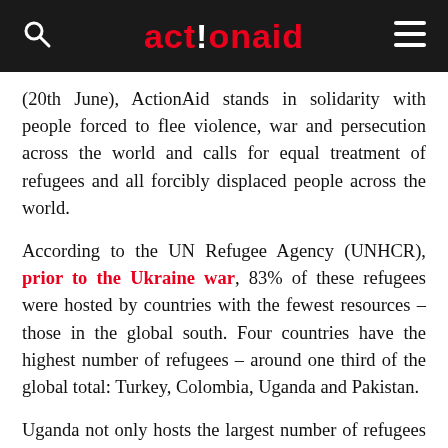actionaid
(20th June), ActionAid stands in solidarity with people forced to flee violence, war and persecution across the world and calls for equal treatment of refugees and all forcibly displaced people across the world.
According to the UN Refugee Agency (UNHCR), prior to the Ukraine war, 83% of these refugees were hosted by countries with the fewest resources – those in the global south. Four countries have the highest number of refugees – around one third of the global total: Turkey, Colombia, Uganda and Pakistan.
Uganda not only hosts the largest number of refugees in Africa, but it also stands out as treating its refugees with the most respect. The Ugandan government provides plots of land to refugees so they can farm and build shelter, as well as